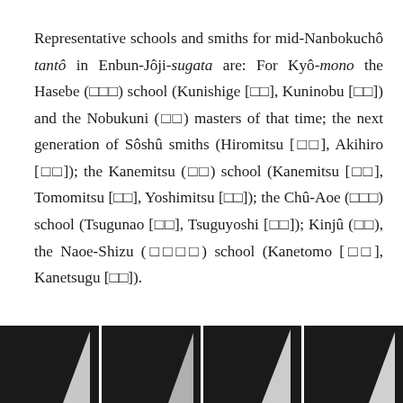Representative schools and smiths for mid-Nanbokuchô tantô in Enbun-Jôji-sugata are: For Kyô-mono the Hasebe (□□□) school (Kunishige [□□], Kuninobu [□□]) and the Nobukuni (□□) masters of that time; the next generation of Sôshû smiths (Hiromitsu [□□], Akihiro [□□]); the Kanemitsu (□□) school (Kanemitsu [□□], Tomomitsu [□□], Yoshimitsu [□□]); the Chû-Aoe (□□□) school (Tsugunao [□□], Tsuguyoshi [□□]); Kinjû (□□), the Naoe-Shizu (□□□□) school (Kanetomo [□□], Kanetsugu [□□]).
[Figure (photo): Four dark photographic panels side by side, each showing a white blade silhouette (tantô knife) against a black background, displayed at the bottom of the page.]